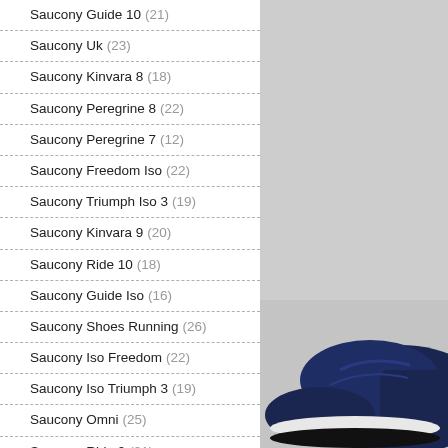Saucony Guide 10 (21)
Saucony Uk (23)
Saucony Kinvara 8 (18)
Saucony Peregrine 8 (22)
Saucony Peregrine 7 (12)
Saucony Freedom Iso (22)
Saucony Triumph Iso 3 (19)
Saucony Kinvara 9 (20)
Saucony Ride 10 (18)
Saucony Guide Iso (16)
Saucony Shoes Running (26)
Saucony Iso Freedom (22)
Saucony Iso Triumph 3 (19)
Saucony Omni (25)
Saucony Ride 9 (21)
Saucony Guide 9 (22)
[Figure (photo): Photo of a blue Saucony running shoe on a grey background, showing the heel/side of the shoe. The upper portion is a grey background and the lower right shows the dark navy blue shoe.]